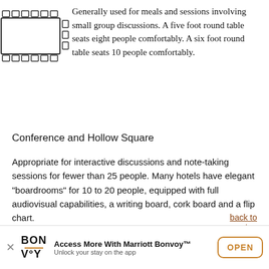Generally used for meals and sessions involving small group discussions. A five foot round table seats eight people comfortably. A six foot round table seats 10 people comfortably.
[Figure (schematic): Diagram of a banquet-style round table seating arrangement showing chairs around a rectangular table with small squares representing chairs.]
Conference and Hollow Square
Appropriate for interactive discussions and note-taking sessions for fewer than 25 people. Many hotels have elegant "boardrooms" for 10 to 20 people, equipped with full audiovisual capabilities, a writing board, cork board and a flip chart.
back to top
Please note: all room sizes are approximate